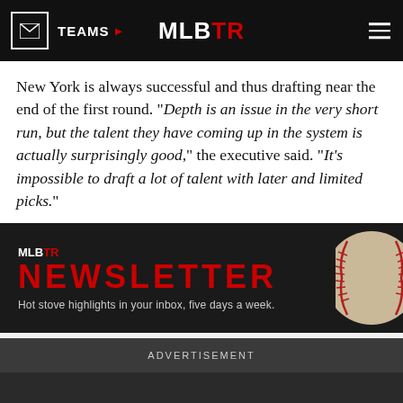TEAMS | MLBTR
New York is always successful and thus drafting near the end of the first round. "Depth is an issue in the very short run, but the talent they have coming up in the system is actually surprisingly good," the executive said. "It's impossible to draft a lot of talent with later and limited picks."
[Figure (infographic): MLBTR Newsletter banner with baseball image. Text reads: MLBTR NEWSLETTER - Hot stove highlights in your inbox, five days a week.]
Email address
SIGN UP
ADVERTISEMENT